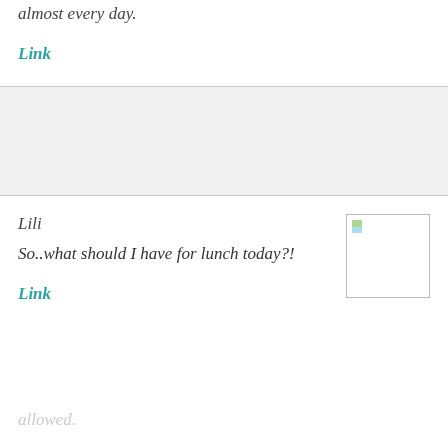almost every day.
Link
Lili
So..what should I have for lunch today?!
Link
lets_be_honest
cheese. And booze since you're
allowed.